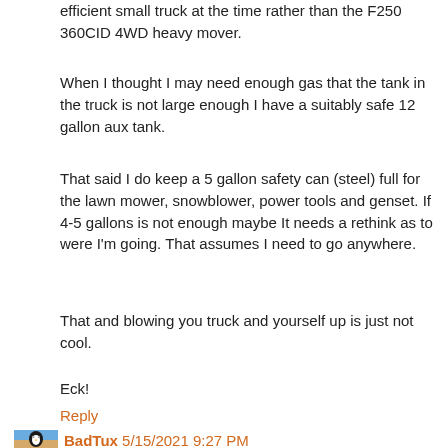efficient small truck at the time rather than the F250 360CID 4WD heavy mover.
When I thought I may need enough gas that the tank in the truck is not large enough I have a suitably safe 12 gallon aux tank.
That said I do keep a 5 gallon safety can (steel) full for the lawn mower, snowblower, power tools and genset. If 4-5 gallons is not enough maybe It needs a rethink as to were I'm going. That assumes I need to go anywhere.
That and blowing you truck and yourself up is just not cool.
Eck!
Reply
BadTux 5/15/2021 9:27 PM